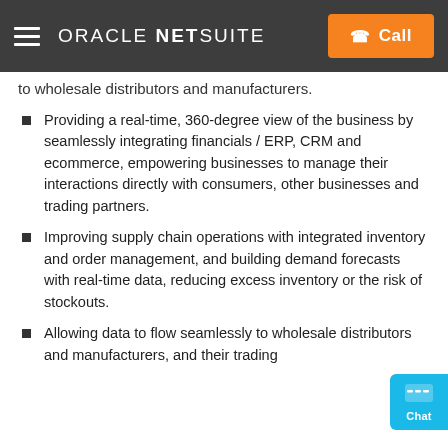Oracle NetSuite — Call
to wholesale distributors and manufacturers.
Providing a real-time, 360-degree view of the business by seamlessly integrating financials / ERP, CRM and ecommerce, empowering businesses to manage their interactions directly with consumers, other businesses and trading partners.
Improving supply chain operations with integrated inventory and order management, and building demand forecasts with real-time data, reducing excess inventory or the risk of stockouts.
Allowing data to flow seamlessly to wholesale distributors and manufacturers, and their trading